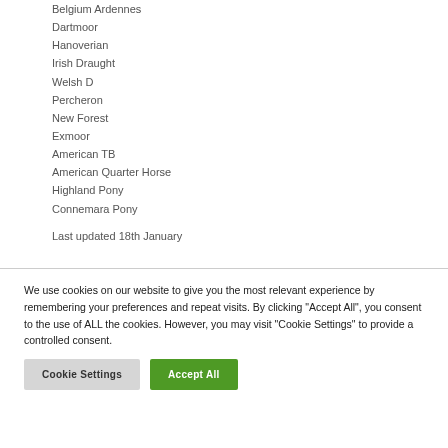Belgium Ardennes
Dartmoor
Hanoverian
Irish Draught
Welsh D
Percheron
New Forest
Exmoor
American TB
American Quarter Horse
Highland Pony
Connemara Pony
Last updated 18th January
We use cookies on our website to give you the most relevant experience by remembering your preferences and repeat visits. By clicking "Accept All", you consent to the use of ALL the cookies. However, you may visit "Cookie Settings" to provide a controlled consent.